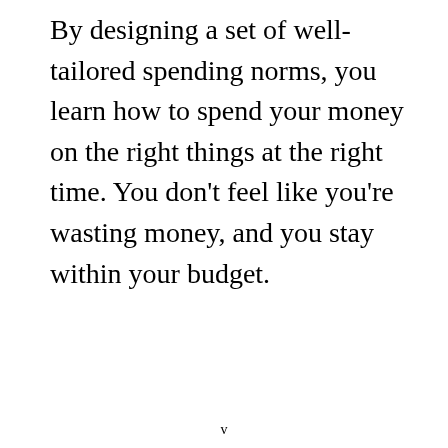By designing a set of well-tailored spending norms, you learn how to spend your money on the right things at the right time. You don't feel like you're wasting money, and you stay within your budget.
v